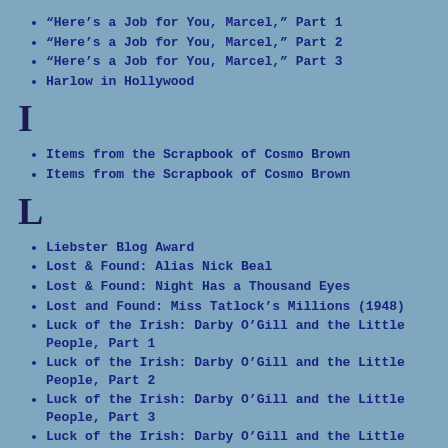“Here’s a Job for You, Marcel,” Part 1
“Here’s a Job for You, Marcel,” Part 2
“Here’s a Job for You, Marcel,” Part 3
Harlow in Hollywood
I
Items from the Scrapbook of Cosmo Brown
Items from the Scrapbook of Cosmo Brown
L
Liebster Blog Award
Lost & Found: Alias Nick Beal
Lost & Found: Night Has a Thousand Eyes
Lost and Found: Miss Tatlock’s Millions (1948)
Luck of the Irish: Darby O’Gill and the Little People, Part 1
Luck of the Irish: Darby O’Gill and the Little People, Part 2
Luck of the Irish: Darby O’Gill and the Little People, Part 3
Luck of the Irish: Darby O’Gill and the Little People, Part 4